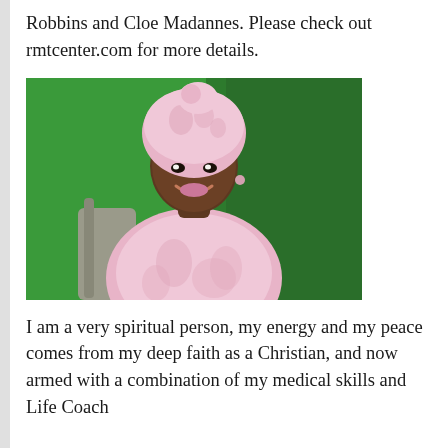Robbins and Cloe Madannes. Please check out rmtcenter.com for more details.
[Figure (photo): Portrait photo of a smiling woman wearing a pink patterned head wrap and pink patterned top, seated in front of a green background.]
I am a very spiritual person, my energy and my peace comes from my deep faith as a Christian, and now armed with a combination of my medical skills and Life Coach